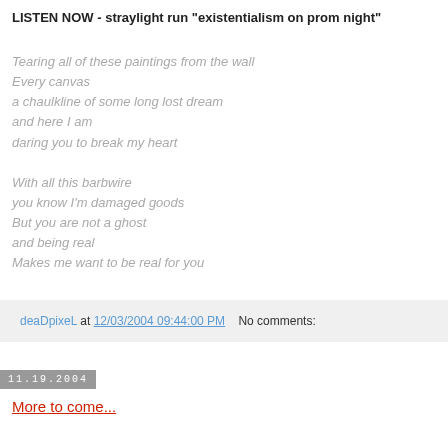LISTEN NOW - straylight run "existentialism on prom night"
Tearing all of these paintings from the wall
Every canvas
a chaulkline of some long lost dream
and here I am
daring you to break my heart

With all this barbwire
you know I'm damaged goods
But you are not a ghost
and being real
Makes me want to be real for you
deaDpixeL at 12/03/2004 09:44:00 PM   No comments:
11.19.2004
More to come...